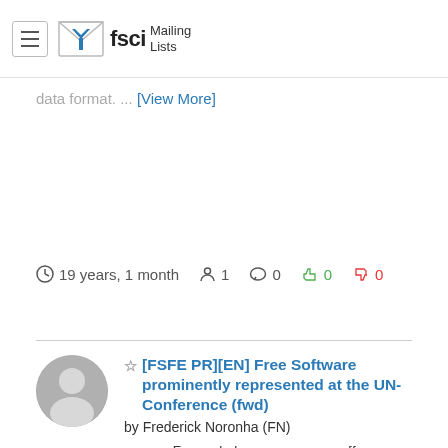fsci Mailing Lists
data format. ... [View More]
19 years, 1 month   1   0   0  0
[FSFE PR][EN] Free Software prominently represented at the UN- Conference (fwd) by Frederick Noronha (FN) ---------- Forwarded message ---------- [for immediate release] Free Software as part of the German governmental delegation at the UN-Preparation - Conference to the World Summit on the Information Society (WSIS) in Paris Karlsruhe, 12.07.2003 >From July 15th to 18th, a preparative conference towards the World Summit on the Information Society will be held in Paris, at which the future and destination of the information- and science- society shall be discussed as requested